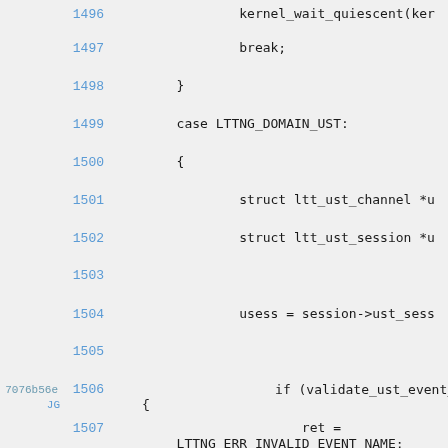[Figure (screenshot): Source code viewer showing C code lines 1496-1509 with line numbers in blue, commit hash 7076b56e and author JG annotation on line 1506, code content on grey background]